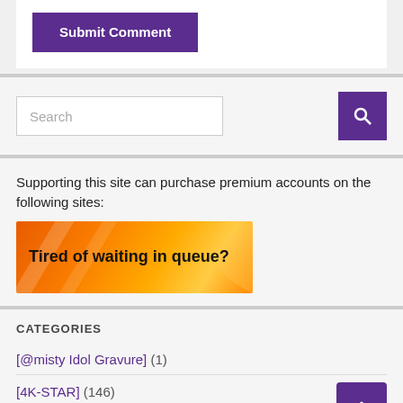[Figure (screenshot): Submit Comment button - purple background with white bold text]
[Figure (screenshot): Search bar with text input field and purple search button with magnifying glass icon]
Supporting this site can purchase premium accounts on the following sites:
[Figure (illustration): Orange gradient banner with text: Tired of waiting in queue?]
CATEGORIES
[@misty Idol Gravure] (1)
[4K-STAR] (146)